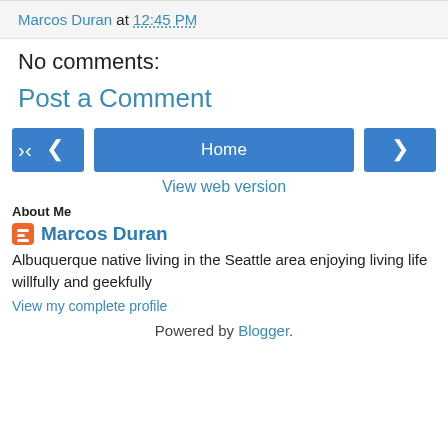Marcos Duran at 12:45 PM
No comments:
Post a Comment
[Figure (other): Navigation buttons: left arrow, Home, right arrow]
View web version
About Me
Marcos Duran
Albuquerque native living in the Seattle area enjoying living life willfully and geekfully
View my complete profile
Powered by Blogger.